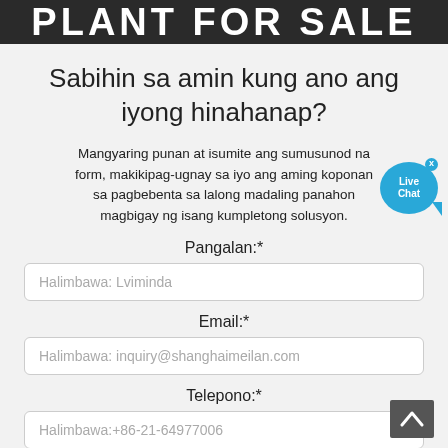PLANT FOR SALE
Sabihin sa amin kung ano ang iyong hinahanap?
Mangyaring punan at isumite ang sumusunod na form, makikipag-ugnay sa iyo ang aming koponan sa pagbebenta sa lalong madaling panahon magbigay ng isang kumpletong solusyon.
Pangalan:*
Halimbawa: Lviminda
Email:*
Halimbawa: inquiry@shanghaimeilan.com
Telepono:*
Halimbawa:+86-21-64977006